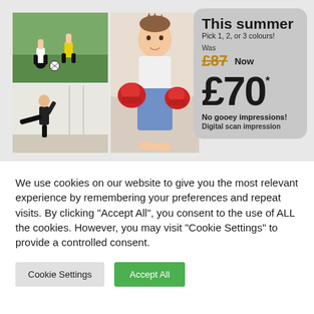[Figure (photo): Three sports photos: two children playing soccer (top-left), a person doing a karate kick (bottom-left), and a young boy holding red boxing gloves (right center)]
This summer
Pick 1, 2, or 3 colours!
Was
£87
Now
£70*
No gooey impressions!
Digital scan impression
We use cookies on our website to give you the most relevant experience by remembering your preferences and repeat visits. By clicking "Accept All", you consent to the use of ALL the cookies. However, you may visit "Cookie Settings" to provide a controlled consent.
Cookie Settings
Accept All